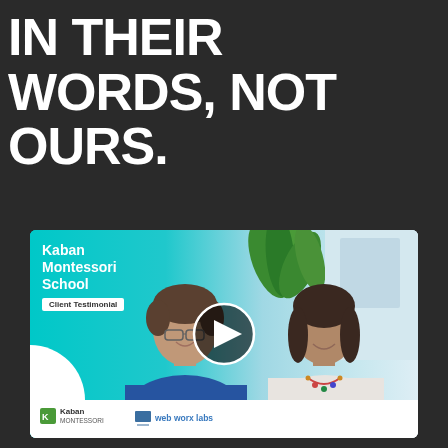IN THEIR WORDS, NOT OURS.
[Figure (screenshot): Video thumbnail for Kaban Montessori School client testimonial. Shows two women seated, one in blue dress with short hair, one in white top with shoulder-length dark hair and colorful beaded necklace. Teal/cyan background on left side with school name overlay. Play button in center. Logos for Kaban Montessori and web worx labs at bottom.]